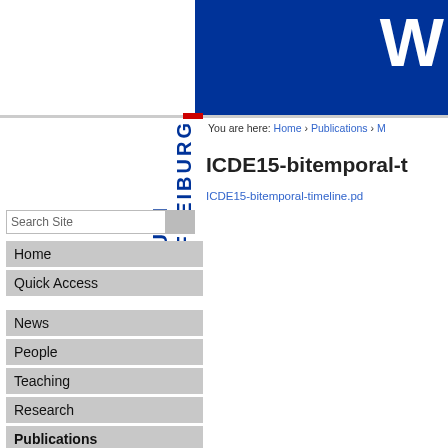[Figure (logo): University Freiburg logo with vertical UNI FREIBURG text in blue and blue header banner]
You are here: Home › Publications › ...
ICDE15-bitemporal-t...
ICDE15-bitemporal-timeline.pd...
Search Site
Home
Quick Access
News
People
Teaching
Research
Publications
edbt12.pdf
edbt09.pdf